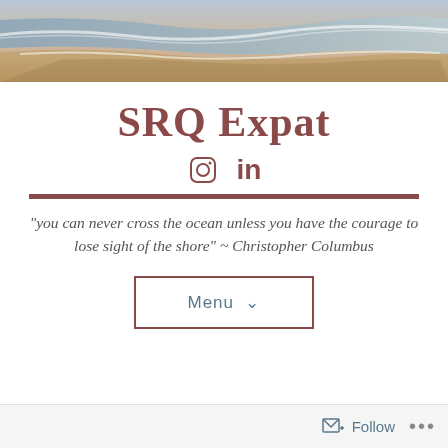[Figure (photo): Beach scene with waves and sandy shore at sunset/dusk, aerial or wide view]
SRQ Expat
[Figure (other): Instagram and LinkedIn social media icons in dark rose/mauve color]
“you can never cross the ocean unless you have the courage to lose sight of the shore” ~ Christopher Columbus
Menu ⌄
Follow ...